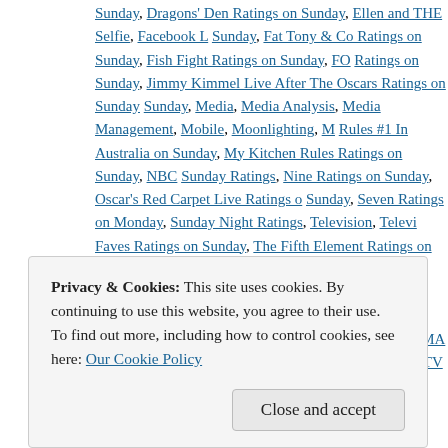Sunday, Dragons' Den Ratings on Sunday, Ellen and THE Selfie, Facebook [...] Sunday, Fat Tony & Co Ratings on Sunday, Fish Fight Ratings on Sunday, FO Ratings on Sunday, Jimmy Kimmel Live After The Oscars Ratings on Sunday [...] Sunday, Media, Media Analysis, Media Management, Mobile, Moonlighting, M Rules #1 In Australia on Sunday, My Kitchen Rules Ratings on Sunday, NBC [...] Sunday Ratings, Nine Ratings on Sunday, Oscar's Red Carpet Live Ratings o Sunday, Seven Ratings on Monday, Sunday Night Ratings, Television, Televi Faves Ratings on Sunday, The Fifth Element Ratings on Sunday in the UK, T Mentalist Ratings on Sunday, The Musketeers' Ratings on Sunday, The Only Simpsons Ratings on Sunday, The Voice Ratings on Sunday, The Walking De on Sunday, Today In TV History, Top 5 DMA Ratings on Sunday, Top Gear Ra Australia on Sunday, TV Ratings on Sunday, Twitter Results at the Oscars, U Univision Ratings on Sunday | Leave a comment
Privacy & Cookies: This site uses cookies. By continuing to use this website, you agree to their use. To find out more, including how to control cookies, see here: Our Cookie Policy